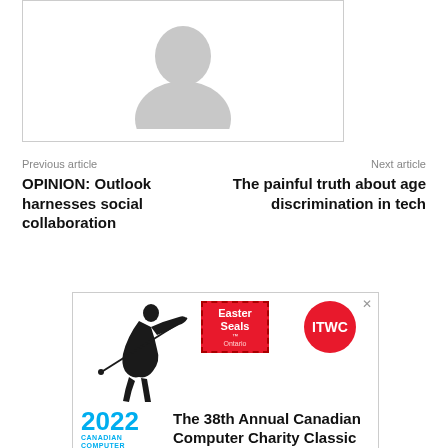[Figure (photo): Gray placeholder avatar image showing a generic person silhouette, inside a bordered box]
Previous article
OPINION: Outlook harnesses social collaboration
Next article
The painful truth about age discrimination in tech
[Figure (illustration): Advertisement for the 38th Annual Canadian Computer Charity Classic golf tournament, September 8, 2022 at Lionhead Golf Course. Features Easter Seals and ITWC logos, a golfer silhouette, 2022 Canadian Computer Golf Classic branding, and event photos at the bottom.]